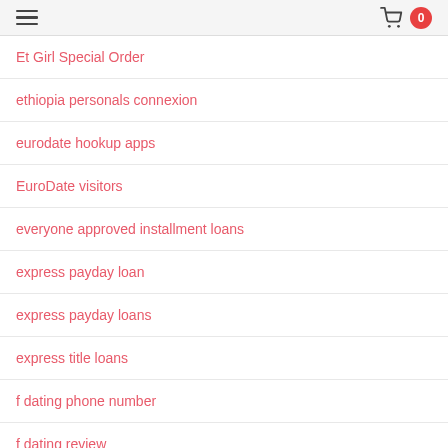navigation header with hamburger menu and cart icon showing 0
Et Girl Special Order
ethiopia personals connexion
eurodate hookup apps
EuroDate visitors
everyone approved installment loans
express payday loan
express payday loans
express title loans
f dating phone number
f dating review